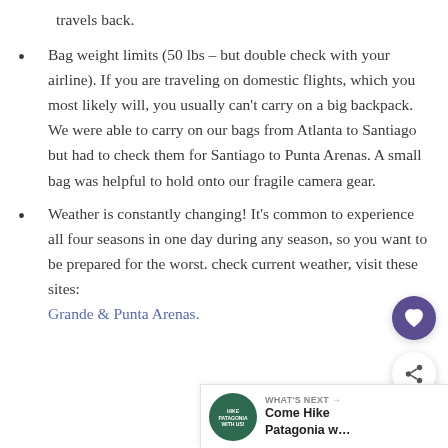travels back.
Bag weight limits (50 lbs – but double check with your airline). If you are traveling on domestic flights, which you most likely will, you usually can't carry on a big backpack. We were able to carry on our bags from Atlanta to Santiago but had to check them for Santiago to Punta Arenas. A small bag was helpful to hold onto our fragile camera gear.
Weather is constantly changing! It's common to experience all four seasons in one day during any season, so you want to be prepared for the worst. check current weather, visit these sites: [link] Grande & Punta Arenas.